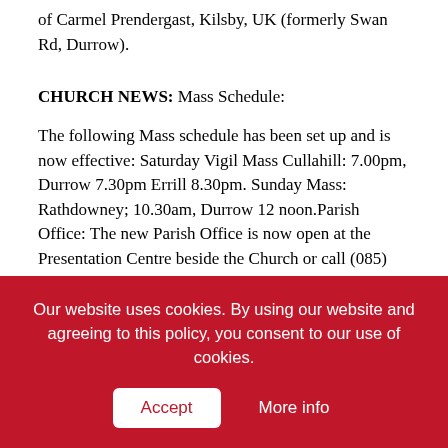of Carmel Prendergast, Kilsby, UK (formerly Swan Rd, Durrow).
CHURCH NEWS: Mass Schedule:
The following Mass schedule has been set up and is now effective: Saturday Vigil Mass Cullahill: 7.00pm, Durrow 7.30pm Errill 8.30pm. Sunday Mass: Rathdowney; 10.30am, Durrow 12 noon.Parish Office: The new Parish Office is now open at the Presentation Centre beside the Church or call (085) 2625033. Opening hours for this office will be from 10am to 2pm Wednesday, Thursday and Friday. The
Our website uses cookies. By using our website and agreeing to this policy, you consent to our use of cookies.